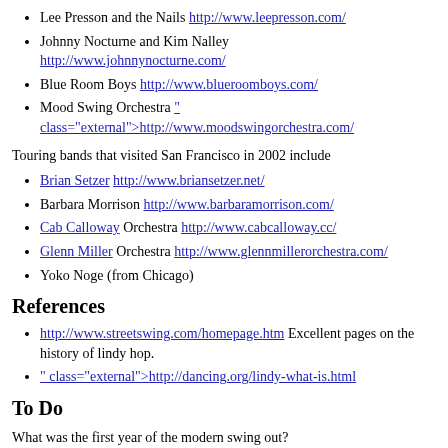Lee Presson and the Nails http://www.leepresson.com/
Johnny Nocturne and Kim Nalley http://www.johnnynocturne.com/
Blue Room Boys http://www.blueroomboys.com/
Mood Swing Orchestra " class="external">http://www.moodswingorchestra.com/
Touring bands that visited San Francisco in 2002 include
Brian Setzer http://www.briansetzer.net/
Barbara Morrison http://www.barbaramorrison.com/
Cab Calloway Orchestra http://www.cabcalloway.cc/
Glenn Miller Orchestra http://www.glennmillerorchestra.com/
Yoko Noge (from Chicago)
References
http://www.streetswing.com/homepage.htm Excellent pages on the history of lindy hop.
" class="external">http://dancing.org/lindy-what-is.html
To Do
What was the first year of the modern swing out?